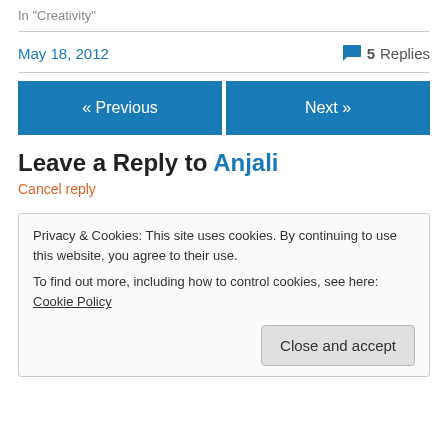In "Creativity"
May 18, 2012  💬 5 Replies
« Previous
Next »
Leave a Reply to Anjali
Cancel reply
Privacy & Cookies: This site uses cookies. By continuing to use this website, you agree to their use.
To find out more, including how to control cookies, see here: Cookie Policy
Close and accept